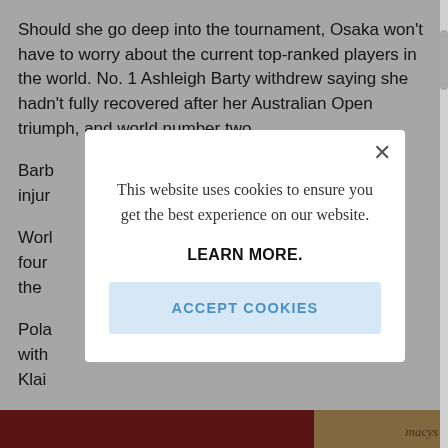Should she go deep into the tournament, Osaka won't have to worry about the current top-ranked players in the world. No. 1 Ashleigh Barty withdrew saying she hadn't fully recovered after her Australian Open triumph, and world number two Barb[ora Krejčíková also pulled out due to] injur[y]
Worl[d number] four[...] the [...]
Pola[nd...] with[...] Klair[...]
[Figure (screenshot): Cookie consent modal dialog overlaying article text. Modal reads: 'This website uses cookies to ensure you get the best experience on our website.' with a 'LEARN MORE.' link and an 'ACCEPT COOKIES' button. A close (×) button is in the top right corner of the modal.]